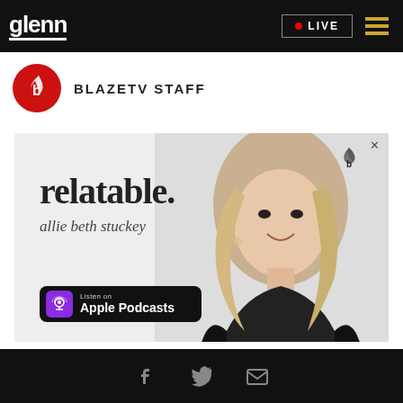glenn | LIVE
BLAZETV STAFF
[Figure (illustration): Advertisement for 'relatable.' podcast by Allie Beth Stuckey — shows text 'relatable. allie beth stuckey' with a photo of a blonde woman and an Apple Podcasts badge]
Social media icons: Facebook, Twitter, Email